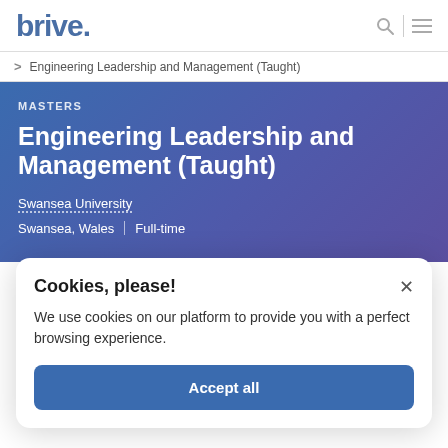[Figure (logo): Brive logo in blue text with a period]
Engineering Leadership and Management (Taught)
MASTERS
Engineering Leadership and Management (Taught)
Swansea University
Swansea, Wales | Full-time
Cookies, please!
We use cookies on our platform to provide you with a perfect browsing experience.
Accept all